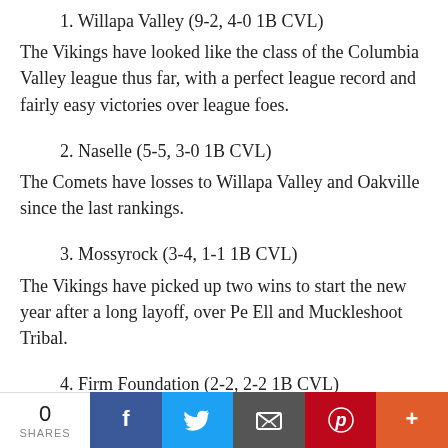1. Willapa Valley (9-2, 4-0 1B CVL)
The Vikings have looked like the class of the Columbia Valley league thus far, with a perfect league record and fairly easy victories over league foes.
2. Naselle (5-5, 3-0 1B CVL)
The Comets have losses to Willapa Valley and Oakville since the last rankings.
3. Mossyrock (3-4, 1-1 1B CVL)
The Vikings have picked up two wins to start the new year after a long layoff, over Pe Ell and Muckleshoot Tribal.
4. Firm Foundation (2-2, 2-2 1B CVL)
Firm Foundation has not played since its win over Pe Ell almost a month ago.
0 SHARES | Facebook | Twitter | Email | Pinterest | More